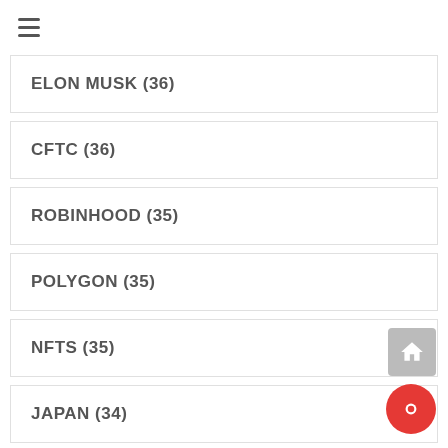ELON MUSK (36)
CFTC (36)
ROBINHOOD (35)
POLYGON (35)
NFTS (35)
JAPAN (34)
COINSHARES (34)
DECENTRALIZATION (34)